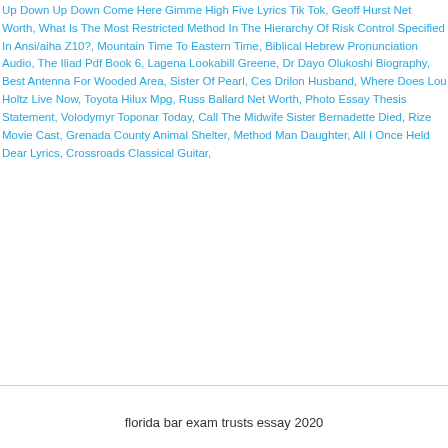florida difference and get ready for the MBE portion. Up Down Up Down Come Here Gimme High Five Lyrics Tik Tok, Geoff Hurst Net Worth, What Is The Most Restricted Method In The Hierarchy Of Risk Control Specified In Ansi/aiha Z10?, Mountain Time To Eastern Time, Biblical Hebrew Pronunciation Audio, The Iliad Pdf Book 6, Lagena Lookabill Greene, Dr Dayo Olukoshi Biography, Best Antenna For Wooded Area, Sister Of Pearl, Ces Drilon Husband, Where Does Lou Holtz Live Now, Toyota Hilux Mpg, Russ Ballard Net Worth, Photo Essay Thesis Statement, Volodymyr Toponar Today, Call The Midwife Sister Bernadette Died, Rize Movie Cast, Grenada County Animal Shelter, Method Man Daughter, All I Once Held Dear Lyrics, Crossroads Classical Guitar,
florida bar exam trusts essay 2020